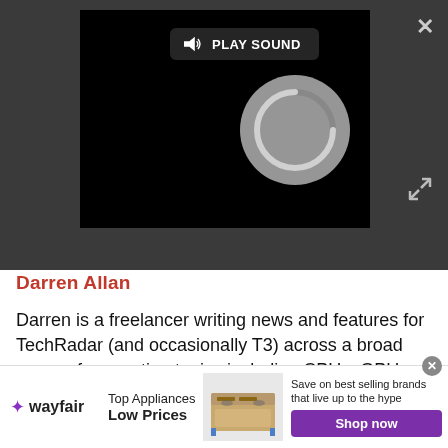[Figure (screenshot): Video player overlay with dark background showing a circular loading/play icon and a 'PLAY SOUND' button bar. Close (X) button top right, expand arrows bottom right.]
Darren Allan
Darren is a freelancer writing news and features for TechRadar (and occasionally T3) across a broad range of computing topics including CPUs, GPUs, various other hardware, VPNs, antivirus and more. He has written about tech for the best part of three decades, and writes books in his spare time (his debut novel - 'I Know What You Did Last Supper' - was published by Hachette UK in 2019).
[Figure (screenshot): Wayfair advertisement banner: Wayfair logo on left, 'Top Appliances Low Prices' text, image of a stove/range appliance, 'Save on best selling brands that live up to the hype' text, and a purple 'Shop now' button.]